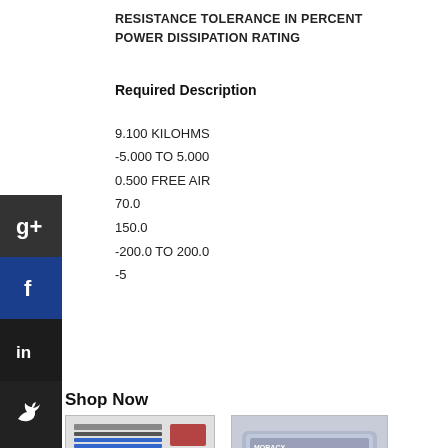RESISTANCE TOLERANCE IN PERCENT
POWER DISSIPATION RATING
Required Description
9.100 KILOHMS
-5.000 TO 5.000
0.500 FREE AIR
70.0
150.0
-200.0 TO 200.0
-5
Shop Now
[Figure (photo): Product image showing resistor kit with colorful components arranged in rows]
[Figure (photo): Product image showing resistor assortment kit in a plastic case/box]